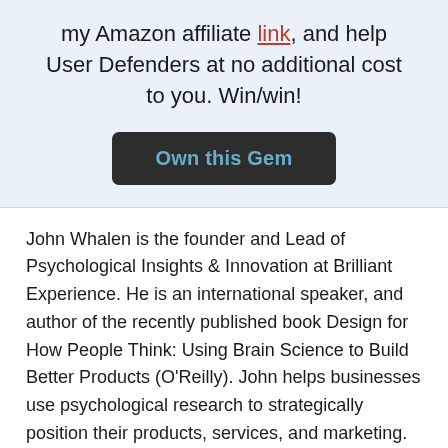my Amazon affiliate link, and help User Defenders at no additional cost to you. Win/win!
[Figure (other): Dark rounded button with text 'Own this Gem' in teal/blue color]
John Whalen is the founder and Lead of Psychological Insights & Innovation at Brilliant Experience. He is an international speaker, and author of the recently published book Design for How People Think: Using Brain Science to Build Better Products (O'Reilly). John helps businesses use psychological research to strategically position their products, services, and marketing. He has a PhD in Cognitive Science and 15+ years of experience working in user research and product design with Fortune 500 companies and...